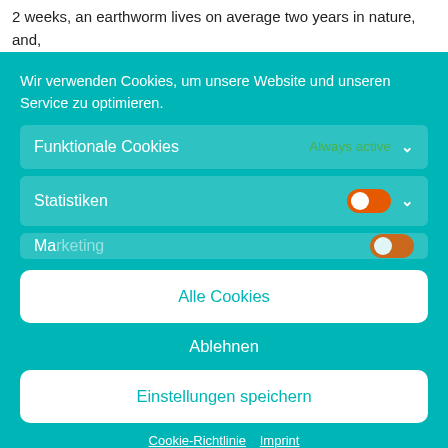2 weeks, an earthworm lives on average two years in nature, and, in the Americas, it at times reaches 1868 and...
Wir verwenden Cookies, um unsere Website und unseren Service zu optimieren.
Funktionale Cookies — Always active
Statistiken
Marketing
Alle Cookies
Ablehnen
Einstellungen speichern
Cookie-Richtlinie   Imprint